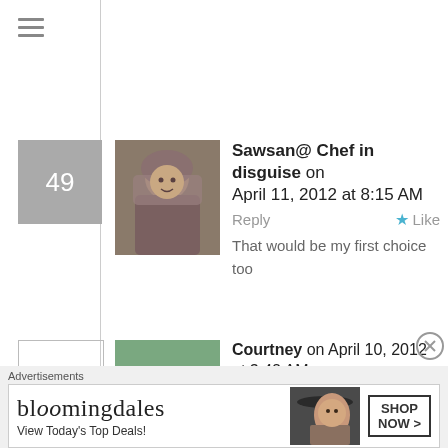[Figure (other): Hamburger menu icon (three horizontal lines)]
49
[Figure (photo): Avatar photo of Sawsan - woman wearing hijab]
Sawsan@ Chef in disguise on April 11, 2012 at 8:15 AM
Reply  Like
That would be my first choice too
50
[Figure (photo): Avatar photo of Courtney - group of people outdoors]
Courtney on April 10, 2012 at 3:42 AM  Reply  Like
I gotta get myself back in the kitchen to make some of these!! Strawberries are my most favorite fruit so I am in total heaven right now.
Advertisements
[Figure (other): Bloomingdales advertisement: bloomingdales View Today's Top Deals! SHOP NOW >]